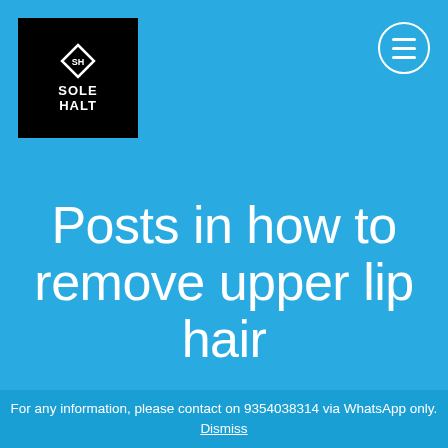[Figure (logo): Sole Halt logo: black square with diamond icon and text SOLE HALT in white]
[Figure (other): Hamburger menu icon: circular button with three horizontal white lines on blue background]
Posts in how to remove upper lip hair
For any information, please contact on 9354038314 via WhatsApp only. Dismiss